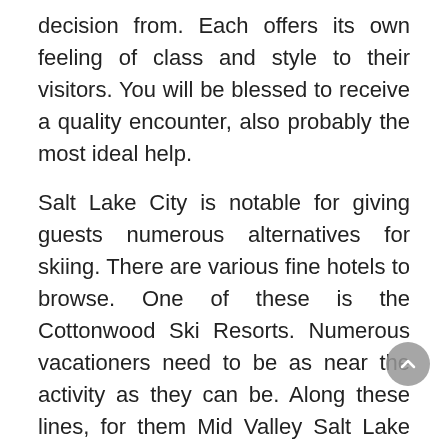decision from. Each offers its own feeling of class and style to their visitors. You will be blessed to receive a quality encounter, also probably the most ideal help.
Salt Lake City is notable for giving guests numerous alternatives for skiing. There are various fine hotels to browse. One of these is the Cottonwood Ski Resorts. Numerous vacationers need to be as near the activity as they can be. Along these lines, for them Mid Valley Salt Lake City lodgings are the most ideal decisions.
There are some superb facilities found in the Mid Valley. One of these is the Candlewood